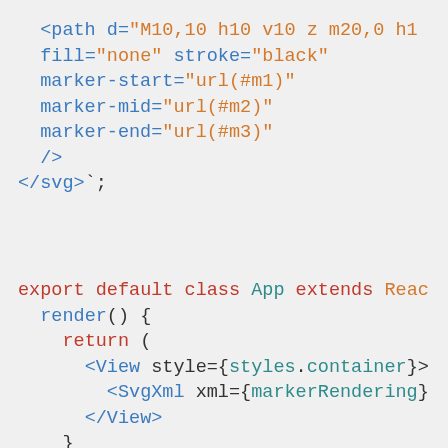<path d="M10,10 h10 v10 z m20,0 h16
fill="none" stroke="black"
marker-start="url(#m1)"
marker-mid="url(#m2)"
marker-end="url(#m3)"
/>
</svg>`;
export default class App extends React
  render() {
    return (
      <View style={styles.container}>
        <SvgXml xml={markerRendering}
      </View>